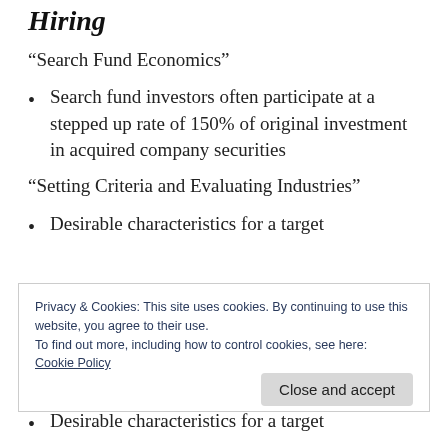Hiring
“Search Fund Economics”
Search fund investors often participate at a stepped up rate of 150% of original investment in acquired company securities
“Setting Criteria and Evaluating Industries”
Desirable characteristics for a target
Privacy & Cookies: This site uses cookies. By continuing to use this website, you agree to their use.
To find out more, including how to control cookies, see here: Cookie Policy
Desirable characteristics for a target